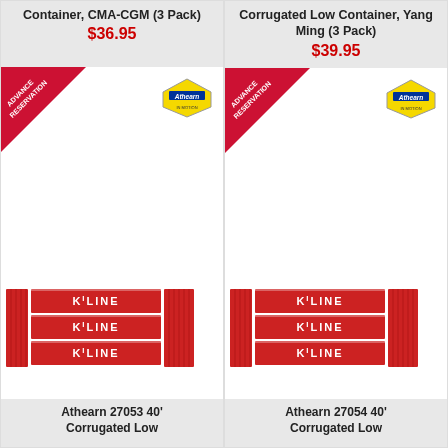Container, CMA-CGM (3 Pack)
$36.95
[Figure (photo): Athearn model train containers K LINE 3-pack product image with advance reservation ribbon and Athearn logo]
Athearn 27053 40' Corrugated Low
Corrugated Low Container, Yang Ming (3 Pack)
$39.95
[Figure (photo): Athearn model train containers K LINE 3-pack product image with advance reservation ribbon and Athearn logo]
Athearn 27054 40' Corrugated Low